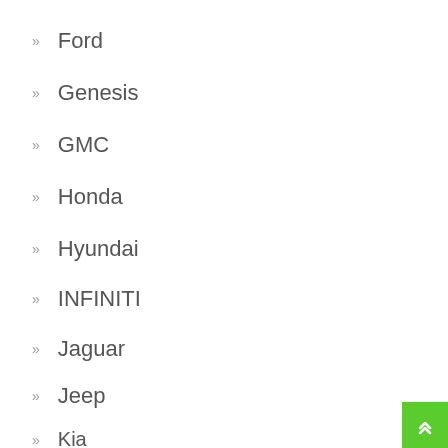Ford
Genesis
GMC
Honda
Hyundai
INFINITI
Jaguar
Jeep
Kia
Kubota